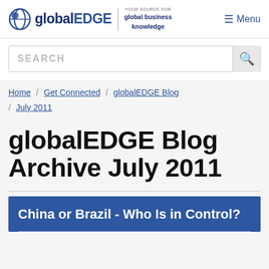globalEDGE — YOUR SOURCE FOR global business knowledge — Menu
SEARCH
Home / Get Connected / globalEDGE Blog / July 2011
globalEDGE Blog Archive July 2011
China or Brazil - Who Is in Control?